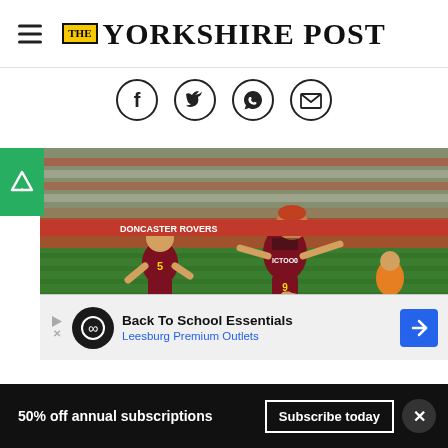THE YORKSHIRE POST
[Figure (illustration): Social sharing icons: Facebook, Twitter, WhatsApp, Email — circular outlined icons in a row]
[Figure (photo): Football match photo showing Bradford City players in maroon/amber kit. A player wearing number 9 is about to kick the ball on a grass pitch, with another player (number 5) running behind. Stadium stands and spectators visible in background. An advertisement overlay for 'Back To School Essentials - Leesburg Premium Outlets' appears over the lower portion of the image.]
Back To School Essentials
Leesburg Premium Outlets
50% off annual subscriptions
Subscribe today